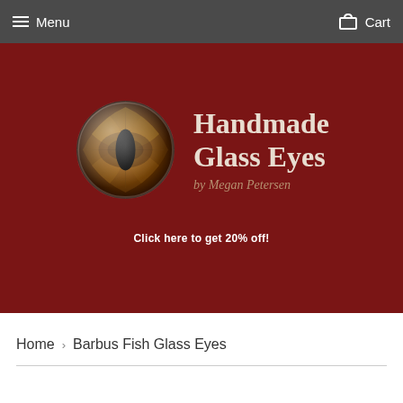Menu  Cart
[Figure (screenshot): Handmade Glass Eyes by Megan Petersen hero banner with a decorative glass eye image on dark red background. Text reads 'Handmade Glass Eyes by Megan Petersen' and 'Click here to get 20% off!']
Click here to get 20% off!
Home › Barbus Fish Glass Eyes